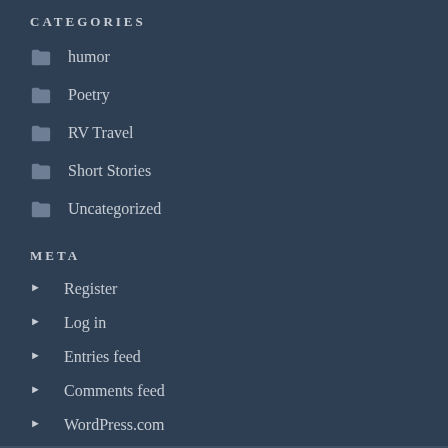CATEGORIES
humor
Poetry
RV Travel
Short Stories
Uncategorized
META
Register
Log in
Entries feed
Comments feed
WordPress.com